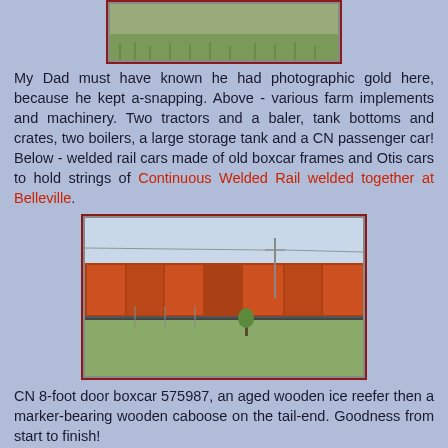[Figure (photo): Top portion of a photograph showing farm implements and machinery with grass/field background, partially cropped at top of page]
My Dad must have known he had photographic gold here, because he kept a-snapping. Above - various farm implements and machinery. Two tractors and a baler, tank bottoms and crates, two boilers, a large storage tank and a CN passenger car! Below - welded rail cars made of old boxcar frames and Otis cars to hold strings of Continuous Welded Rail welded together at Belleville.
[Figure (photo): Photograph of a train with orange/red welded rail cars made from old boxcar frames and Otis cars, shown on tracks with grass and trees in the background]
CN 8-foot door boxcar 575987, an aged wooden ice reefer then a marker-bearing wooden caboose on the tail-end. Goodness from start to finish!
[Figure (photo): Bottom photograph partially cropped, showing the beginning of another train or rail scene]